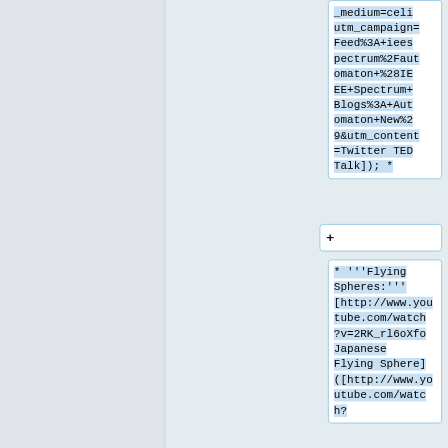_medium=celi utm_campaign=Feed%3A+ieeespectrum%2Fautomaton+%28IEEE+Spectrum+Blogs%3A+Automaton+New%29&utm_content=Twitter TED Talk]); *
+
* '''Flying Spheres:''' [http://www.youtube.com/watch?v=2RK_rl6oXfo Japanese Flying Sphere] ([http://www.youtube.com/watch?h?